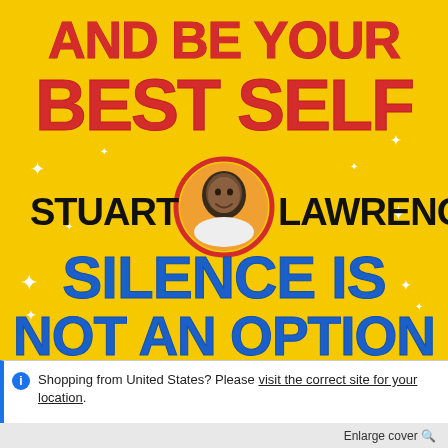[Figure (illustration): Book cover for 'Silence is Not an Option' by Stuart Lawrence on a bright yellow background. Large red distressed text reads 'AND BE YOUR BEST SELF' at the top. Black bold text reads 'STUART LAWRENCE' in the middle with a circular portrait photo of Stuart Lawrence between the first and last name. Large blue distressed text reads 'SILENCE IS NOT AN OPTION' at the bottom. White sparkle/star decorations scattered throughout.]
Shopping from United States? Please visit the correct site for your location.
Enlarge cover